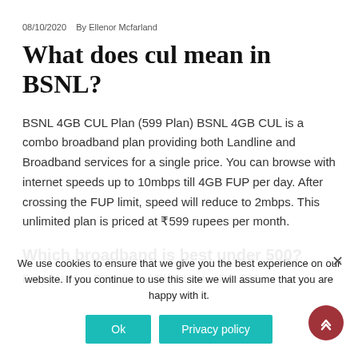08/10/2020    By Ellenor Mcfarland
What does cul mean in BSNL?
BSNL 4GB CUL Plan (599 Plan) BSNL 4GB CUL is a combo broadband plan providing both Landline and Broadband services for a single price. You can browse with internet speeds up to 10mbps till 4GB FUP per day. After crossing the FUP limit, speed will reduce to 2mbps. This unlimited plan is priced at ₹599 rupees per month.
Which broadband is best under 500?
Best Netplus Broadband Plan Under Rs. 500
We use cookies to ensure that we give you the best experience on our website. If you continue to use this site we will assume that you are happy with it.